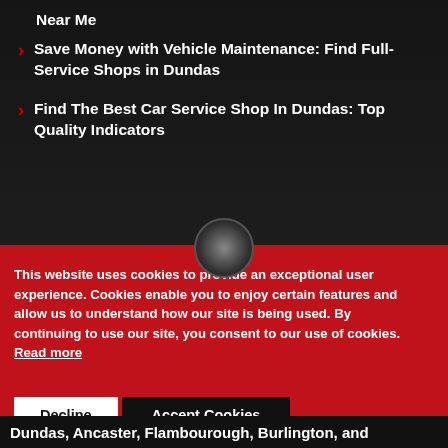Near Me
Save Money with Vehicle Maintenance: Find Full-Service Shops in Dundas
Find The Best Car Service Shop In Dundas: Top Quality Indicators
This website uses cookies to provide an exceptional user experience. Cookies enable you to enjoy certain features and allow us to understand how our site is being used. By continuing to use our site, you consent to our use of cookies. Read more
Decline
Accept Cookies
Dundas, Ancaster, Flambourough, Burlington, and